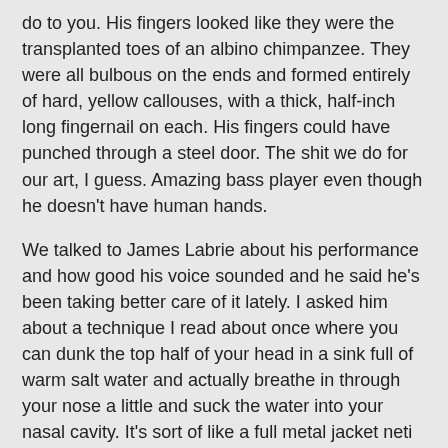do to you. His fingers looked like they were the transplanted toes of an albino chimpanzee. They were all bulbous on the ends and formed entirely of hard, yellow callouses, with a thick, half-inch long fingernail on each. His fingers could have punched through a steel door. The shit we do for our art, I guess. Amazing bass player even though he doesn't have human hands.
We talked to James Labrie about his performance and how good his voice sounded and he said he's been taking better care of it lately. I asked him about a technique I read about once where you can dunk the top half of your head in a sink full of warm salt water and actually breathe in through your nose a little and suck the water into your nasal cavity. It's sort of like a full metal jacket neti pot. He just looked at me strangely for a second and then Yort said, "Are you asking him if he drowns himself?" Then James said, "I have to go stand over here now," and edged away from us. Not really, but that's what it felt like. Anyway, a fantastic show as always.
This weekend I'm depressing myself doing winter-prep yard